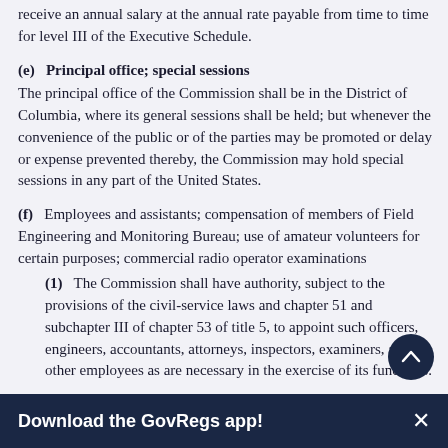receive an annual salary at the annual rate payable from time to time for level III of the Executive Schedule.
(e)   Principal office; special sessions
The principal office of the Commission shall be in the District of Columbia, where its general sessions shall be held; but whenever the convenience of the public or of the parties may be promoted or delay or expense prevented thereby, the Commission may hold special sessions in any part of the United States.
(f)   Employees and assistants; compensation of members of Field Engineering and Monitoring Bureau; use of amateur volunteers for certain purposes; commercial radio operator examinations
(1)   The Commission shall have authority, subject to the provisions of the civil-service laws and chapter 51 and subchapter III of chapter 53 of title 5, to appoint such officers, engineers, accountants, attorneys, inspectors, examiners, and other employees as are necessary in the exercise of its functions.
Download the GovRegs app!